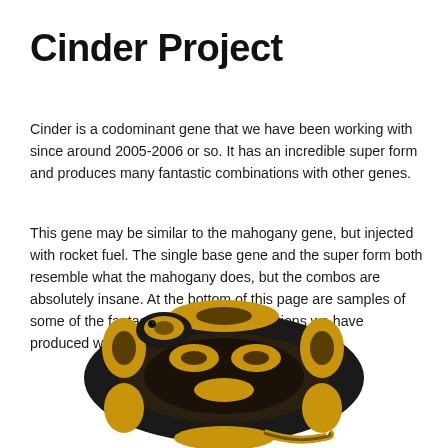Cinder Project
Cinder is a codominant gene that we have been working with since around 2005-2006 or so. It has an incredible super form and produces many fantastic combinations with other genes.
This gene may be similar to the mahogany gene, but injected with rocket fuel. The single base gene and the super form both resemble what the mahogany does, but the combos are absolutely insane. At the bottom of this page are samples of some of the fantastic designer combinations we have produced with Cinder to date.
[Figure (photo): A coiled ball python snake with black and golden-yellow pattern (Cinder morph), photographed on a white background, cropped at the bottom of the page.]